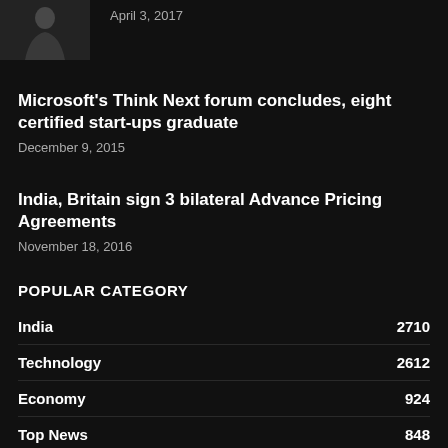[Figure (photo): A man in a suit, portrait photo, partial view at top left]
April 3, 2017
Microsoft's Think Next forum concludes, eight certified start-ups graduate
December 9, 2015
India, Britain sign 3 bilateral Advance Pricing Agreements
November 18, 2016
POPULAR CATEGORY
India   2710
Technology   2612
Economy   924
Top News   848
Finance   723